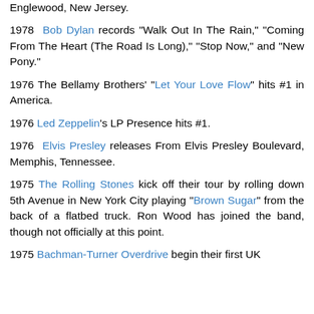Englewood, New Jersey.
1978 Bob Dylan records "Walk Out In The Rain," "Coming From The Heart (The Road Is Long)," "Stop Now," and "New Pony."
1976 The Bellamy Brothers' "Let Your Love Flow" hits #1 in America.
1976 Led Zeppelin's LP Presence hits #1.
1976 Elvis Presley releases From Elvis Presley Boulevard, Memphis, Tennessee.
1975 The Rolling Stones kick off their tour by rolling down 5th Avenue in New York City playing "Brown Sugar" from the back of a flatbed truck. Ron Wood has joined the band, though not officially at this point.
1975 Bachman-Turner Overdrive begin their first UK